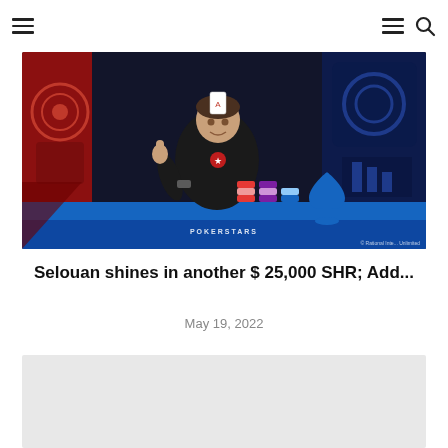Navigation header with hamburger menu icons and search icon
[Figure (photo): A poker player (Selouan) sitting at a PokerStars tournament table giving a thumbs up, with chip stacks and a blue spade trophy in front, red and blue decorative background graphics]
Selouan shines in another $ 25,000 SHR; Add...
May 19, 2022
[Figure (photo): Second article image, shown as light gray placeholder rectangle]